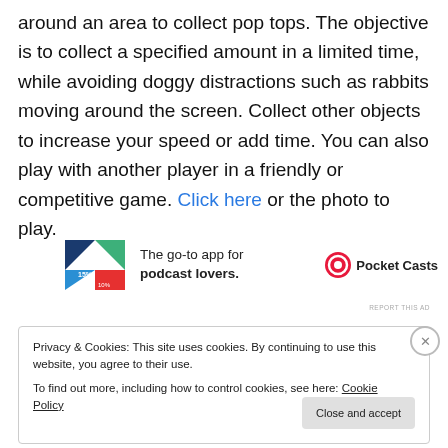around an area to collect pop tops. The objective is to collect a specified amount in a limited time, while avoiding doggy distractions such as rabbits moving around the screen. Collect other objects to increase your speed or add time. You can also play with another player in a friendly or competitive game. Click here or the photo to play.
[Figure (other): Advertisement banner for Pocket Casts podcast app showing colorful logo and text 'The go-to app for podcast lovers.']
REPORT THIS AD
Privacy & Cookies: This site uses cookies. By continuing to use this website, you agree to their use.
To find out more, including how to control cookies, see here: Cookie Policy
Close and accept